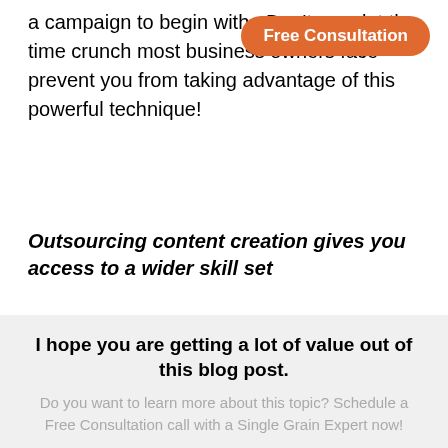a campaign to begin with.  Don't ever let the time crunch most business owners face prevent you from taking advantage of this powerful technique!
[Figure (other): Orange rounded rectangle button labeled 'Free Consultation' in white text, positioned top right]
Outsourcing content creation gives you access to a wider skill set
I hope you are getting a lot of value out of this blog post.
Do you want to learn more about this topic? Schedule a Free Consultation call with a Single Grain Expert now!
Book a call